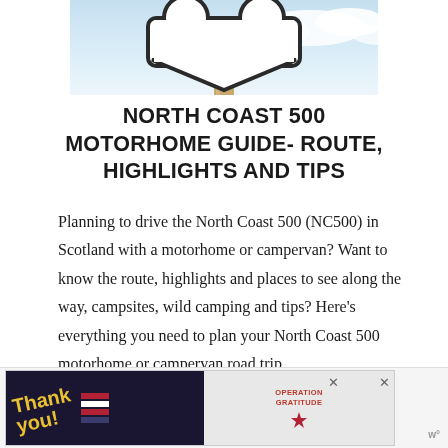[Figure (photo): Partial view of a road sign (white heart/arrow shaped sign with dark border on a wooden post) against a blue sky with clouds — cropped at top]
NORTH COAST 500 MOTORHOME GUIDE- ROUTE, HIGHLIGHTS AND TIPS
Planning to drive the North Coast 500 (NC500) in Scotland with a motorhome or campervan? Want to know the route, highlights and places to see along the way, campsites, wild camping and tips? Here’s everything you need to plan your North Coast 500 motorhome or campervan road trip.
[Figure (screenshot): Advertisement banner: Thank you message with Operation Gratitude logo and military personnel photo, with close buttons]